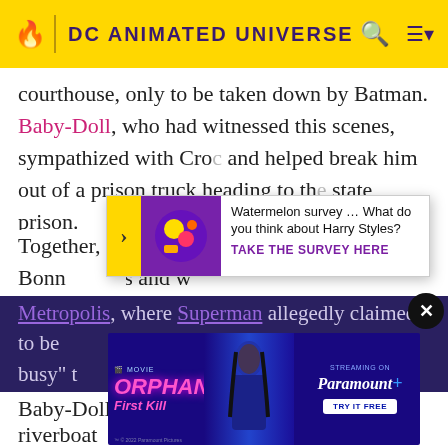DC ANIMATED UNIVERSE
courthouse, only to be taken down by Batman. Baby-Doll, who had witnessed this scenes, sympathized with Croc and helped break him out of a prison truck heading to the state prison.
Together, Baby-Doll and Croc set up a home in the sewers and w... am's Bonn... Jewe... co Metropolis, where Superman allegedly claimed to be busy to help them, and plotted to rob the all of Gotham... ending time wi...
[Figure (screenshot): Watermelon survey ad popup: 'Watermelon survey … What do you think about Harry Styles? TAKE THE SURVEY HERE']
[Figure (screenshot): Paramount+ movie ad for Orphan: First Kill - streaming on Paramount+, Try It Free]
Baby-Doll and Croc next attempted to rob a riverboat